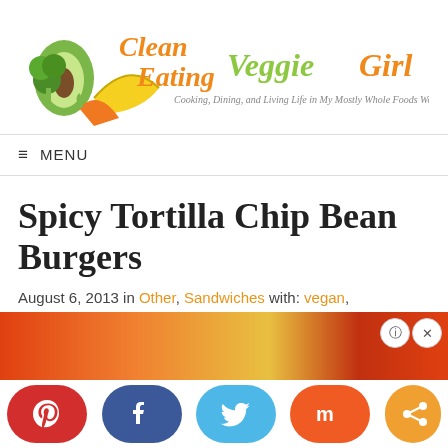[Figure (logo): Clean Eating Veggie Girl blog logo with illustrated fruits and vegetables. Text reads 'Clean Eating Veggie Girl - Cooking, Dining, and Living Life in My Mostly Whole Foods World!']
≡ MENU
Spicy Tortilla Chip Bean Burgers
August 6, 2013 in Other, Sandwiches with: vegan, vegetarian
[Figure (photo): Partial view of a food photo at the bottom of the page, with social sharing buttons overlay (Pinterest, Facebook, Twitter, Mix, Share)]